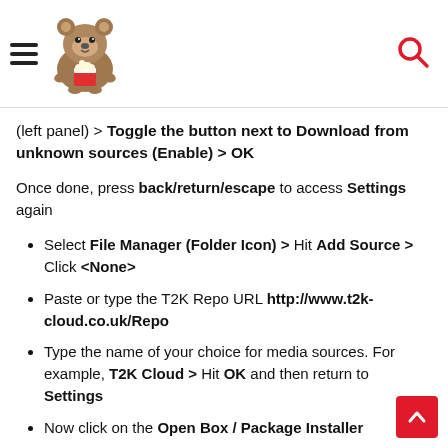[hamburger menu icon] [bear logo] [search icon]
(left panel) > Toggle the button next to Download from unknown sources (Enable) > OK
Once done, press back/return/escape to access Settings again
Select File Manager (Folder Icon) > Hit Add Source > Click <None>
Paste or type the T2K Repo URL http://www.t2k-cloud.co.uk/Repo
Type the name of your choice for media sources. For example, T2K Cloud > Hit OK and then return to Settings
Now click on the Open Box / Package Installer